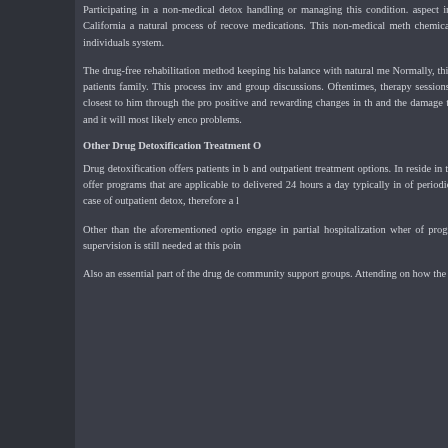Participating in a non-medical detox handling or managing this condition. aspect in drug detox. This is an o California a natural process of recove medications. This non-medical meth chemicals or medications that can individuals system.
The drug-free rehabilitation method keeping his balance with natural me Normally, this procedure is a long-te the patients family. This process inv and group discussions. Oftentimes, therapy sessions in order to help the those closest to him through the pro positive and rewarding changes in th and the damage that it has caused condition and it will most likely enco problems.
Other Drug Detoxification Treatment O
Drug detoxification offers patients in b and outpatient treatment options. In reside in treatment facilities all throu offer programs that are applicable to delivered 24 hours a day typically in of periodic counseling sessions and t case of outpatient detox, therefore a l
Other than the aforementioned optio engage in partial hospitalization wher of program only requires daytime supervision is still needed at this poin
Also an essential part of the drug de community support groups. Attending on how the adjustments in lifestyle